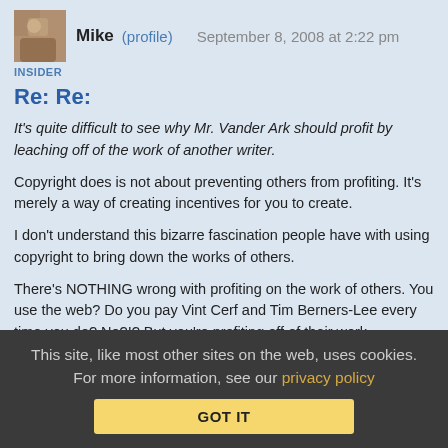Mike (profile)   September 8, 2008 at 2:22 pm
INSIDER
Re: Re:
It’s quite difficult to see why Mr. Vander Ark should profit by leaching off of the work of another writer.
Copyright does is not about preventing others from profiting. It’s merely a way of creating incentives for you to create.
I don’t understand this bizarre fascination people have with using copyright to bring down the works of others.
There’s NOTHING wrong with profiting on the work of others. You use the web? Do you pay Vint Cerf and Tim Berners-Lee every time you do? No?!? But you’re profiting off of their work.
This site, like most other sites on the web, uses cookies. For more information, see our privacy policy  GOT IT